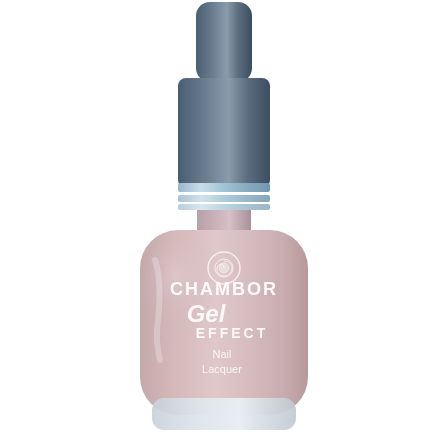[Figure (photo): Chambor Gel Effect Nail Lacquer bottle in dusty mauve/pink color. The bottle has a rounded square shape with a dark blue/slate cap featuring blue metallic rings at the base of the cap. The label on the bottle shows the Chambor brand logo (a rose inside a circle), the brand name CHAMBOR in white, and the product name 'Gel Effect Nail Lacquer' in white script and serif text.]